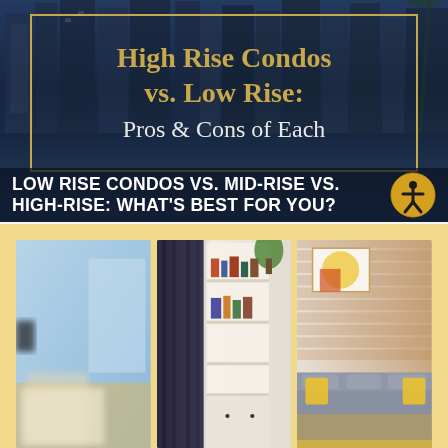[Figure (photo): Top banner: dark navy background with cityscape of high-rise buildings behind a gold-bordered text box. Gold text reads 'High Rise Condos vs. Low Rise:' and white text reads 'Pros & Cons of Each'. Below, a dark overlay bar with white bold text: 'LOW RISE CONDOS VS. MID-RISE VS. HIGH-RISE: WHAT'S BEST FOR YOU?' and an accessibility icon circle.]
[Figure (photo): Bottom section: three side-by-side interior condo room photos on a gold/yellow background. Left: blurred bedroom with blue walls. Center: bookcase/cabinet with dark curtain. Right: living room with gray sofa and yellow cushions.]